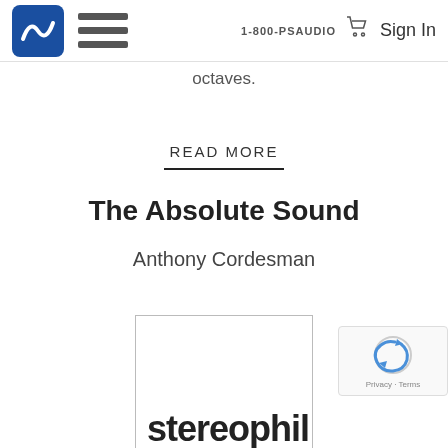1-800-PSAUDIO  Sign In
octaves.
READ MORE
The Absolute Sound
Anthony Cordesman
[Figure (logo): Stereophile magazine logo inside a bordered rectangle]
[Figure (other): reCAPTCHA widget with Privacy and Terms links]